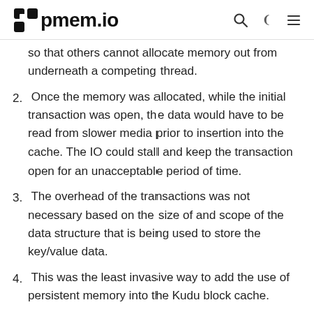pmem.io
so that others cannot allocate memory out from underneath a competing thread.
2. Once the memory was allocated, while the initial transaction was open, the data would have to be read from slower media prior to insertion into the cache. The IO could stall and keep the transaction open for an unacceptable period of time.
3. The overhead of the transactions was not necessary based on the size of and scope of the data structure that is being used to store the key/value data.
4. This was the least invasive way to add the use of persistent memory into the Kudu block cache.